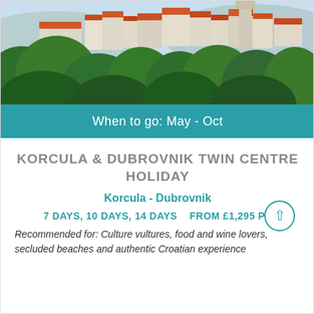[Figure (photo): Aerial view of a coastal Mediterranean town with red-tiled roofs, white stone buildings, and lush green trees with turquoise sea in the background — Korcula or Dubrovnik, Croatia]
When to go: May - Oct
KORCULA & DUBROVNIK TWIN CENTRE HOLIDAY
Korcula - Dubrovnik
7 DAYS, 10 DAYS, 14 DAYS   FROM £1,295 PP
Recommended for: Culture vultures, food and wine lovers, secluded beaches and authentic Croatian experience